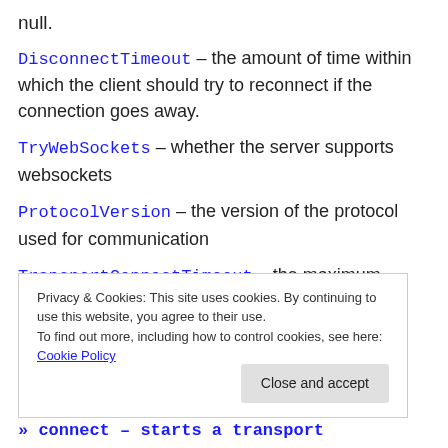null.
DisconnectTimeout – the amount of time within which the client should try to reconnect if the connection goes away.
TryWebSockets – whether the server supports websockets
ProtocolVersion – the version of the protocol used for communication
TransportConnectTimeout – the maximum amount of time the client should try to connect to the server using a given transport
Privacy & Cookies: This site uses cookies. By continuing to use this website, you agree to their use. To find out more, including how to control cookies, see here: Cookie Policy
» connect – starts a transport